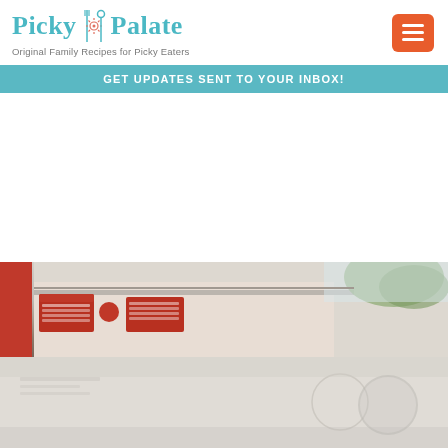[Figure (logo): Picky Palate logo with fork/spoon icon. Text reads 'Picky Palate' in teal. Tagline: 'Original Family Recipes for Picky Eaters']
[Figure (other): Orange/red hamburger menu button in top right corner]
GET UPDATES SENT TO YOUR INBOX!
[Figure (photo): Partial photo of a restaurant exterior with red awning and building facade, partially cut off at bottom of page]